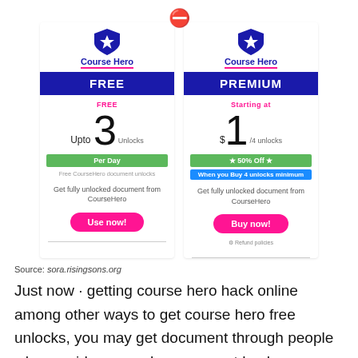[Figure (screenshot): Course Hero pricing comparison: FREE plan (Upto 3 unlocks per day) vs PREMIUM plan (Starting at $1 / 4 unlocks, 50% off). Both include 'Get fully unlocked document from CourseHero'. FREE has 'Use now!' button; PREMIUM has 'Buy now!' button with Refund policies.]
Source: sora.risingsons.org
Just now · getting course hero hack online among other ways to get course hero free unlocks, you may get document through people who provide course hero account hack. · course hero takes up to 24 hours for document to be processed.